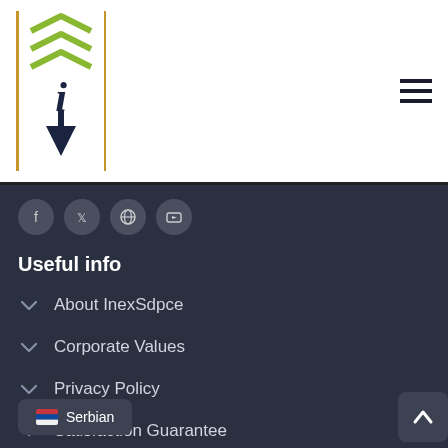[Figure (logo): InexSdpce company logo with green chevrons and dark blue 'i' letter with downward arrow, bordered in orange/gold]
[Figure (illustration): Hamburger menu icon (three horizontal lines) in dark color]
[Figure (illustration): Social media icons row: Facebook, Twitter, Dribbble, YouTube - dark circular buttons]
Useful info
About InexSdpce
Corporate Values
Privacy Policy
Satisfaction Guarantee
Copyright Information
Serbian
[Figure (illustration): Back to top arrow button]